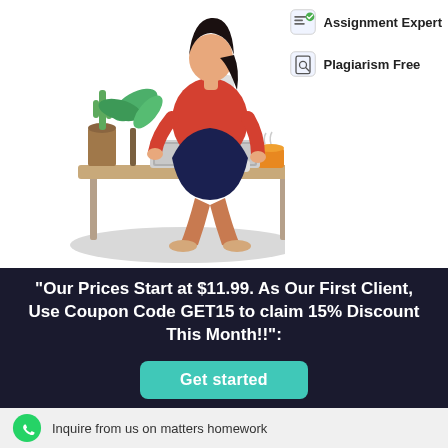[Figure (illustration): Woman sitting at a desk with laptop, coffee cup, and potted plants. Flat style illustration with a gray shadow ellipse under the desk. Woman wearing red top and dark skirt.]
Assignment Expert
Plagiarism Free
"Our Prices Start at $11.99. As Our First Client, Use Coupon Code GET15 to claim 15% Discount This Month!!":
Get started
Inquire from us on matters homework